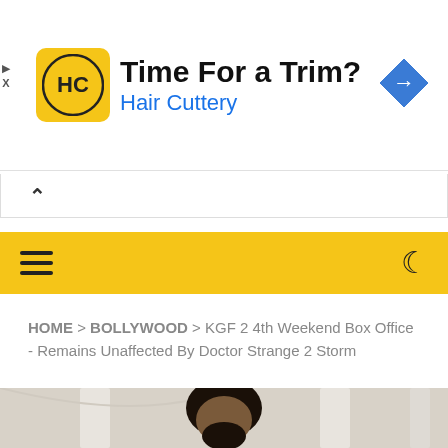[Figure (other): Advertisement banner for Hair Cuttery. Shows yellow logo with HC initials, text 'Time For a Trim?' in bold and 'Hair Cuttery' in blue, with a blue navigation arrow icon on right.]
HOME > BOLLYWOOD > KGF 2 4th Weekend Box Office - Remains Unaffected By Doctor Strange 2 Storm
[Figure (photo): Partially visible photo of a bearded man with long black hair, appearing to be actor Yash from KGF movie, with architectural columns visible in background.]